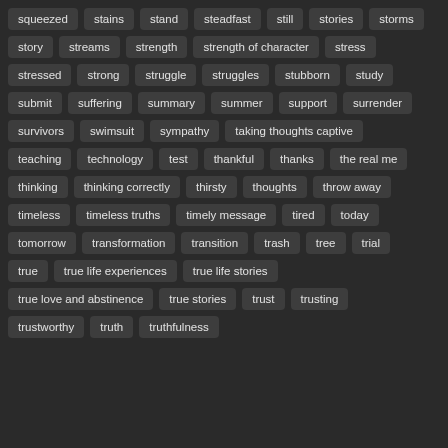squeezed
stains
stand
steadfast
still
stories
storms
story
streams
strength
strength of character
stress
stressed
strong
struggle
struggles
stubborn
study
submit
suffering
summary
summer
support
surrender
survivors
swimsuit
sympathy
taking thoughts captive
teaching
technology
test
thankful
thanks
the real me
thinking
thinking correctly
thirsty
thoughts
throw away
timeless
timeless truths
timely message
tired
today
tomorrow
transformation
transition
trash
tree
trial
true
true life experiences
true life stories
true love and abstinence
true stories
trust
trusting
trustworthy
truth
truthfulness